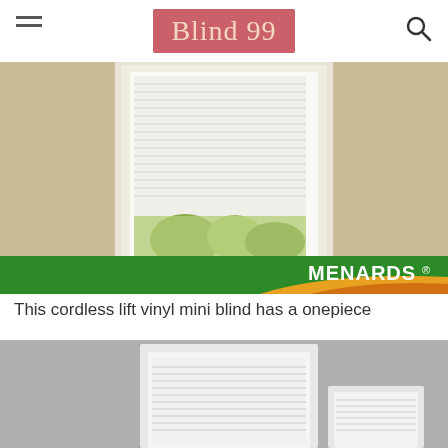Blind 99
[Figure (photo): A window with white horizontal vinyl mini blinds installed, flanked by tan/beige panels, with view of greenery outside. Menards logo and green/gold stripe at bottom of image.]
This cordless lift vinyl mini blind has a onepiece
[Figure (photo): A white window with white horizontal mini blinds installed on a grey background, partially visible second blind in lower right.]